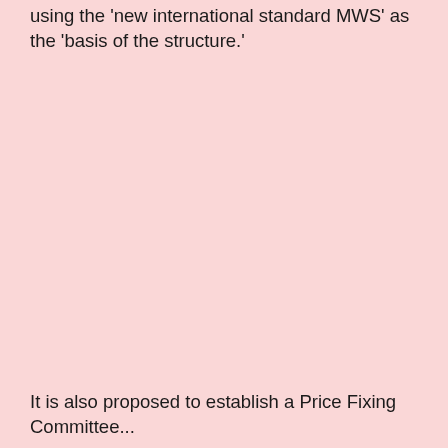using the 'new international standard MWS' as the 'basis of the structure.'
It is also proposed to establish a Price Fixing Committee...